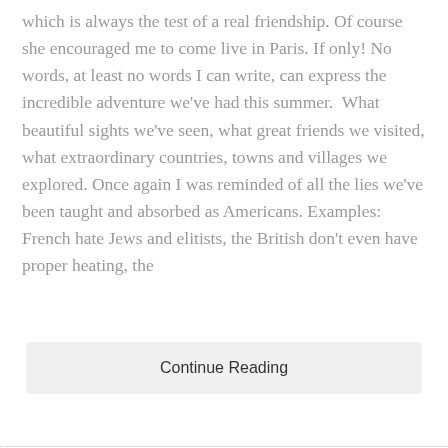which is always the test of a real friendship. Of course she encouraged me to come live in Paris. If only! No words, at least no words I can write, can express the incredible adventure we've had this summer. What beautiful sights we've seen, what great friends we visited, what extraordinary countries, towns and villages we explored. Once again I was reminded of all the lies we've been taught and absorbed as Americans. Examples: French hate Jews and elitists, the British don't even have proper heating, the
Continue Reading